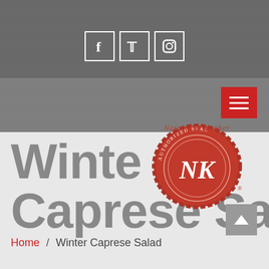[Figure (screenshot): Social media icons: Facebook (f), Twitter (bird), Instagram, displayed as white outlined squares on dark gray background]
[Figure (logo): Natural & Kosher NK certified red wax seal logo with script text around the edge]
Winter Caprese Salad
Home / Winter Caprese Salad